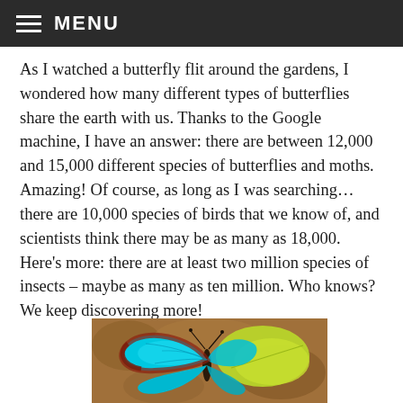≡ MENU
As I watched a butterfly flit around the gardens, I wondered how many different types of butterflies share the earth with us. Thanks to the Google machine, I have an answer: there are between 12,000 and 15,000 different species of butterflies and moths. Amazing! Of course, as long as I was searching… there are 10,000 species of birds that we know of, and scientists think there may be as many as 18,000. Here's more: there are at least two million species of insects – maybe as many as ten million. Who knows? We keep discovering more!
[Figure (photo): A blue morpho butterfly with vibrant cyan-blue wings and reddish-brown borders, perched on a yellow-green leaf against a blurred brown background.]